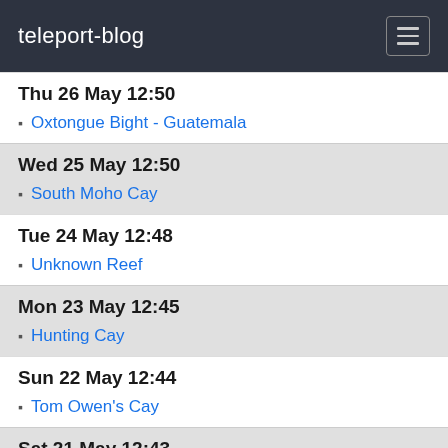teleport-blog
Thu 26 May 12:50
Oxtongue Bight - Guatemala
Wed 25 May 12:50
South Moho Cay
Tue 24 May 12:48
Unknown Reef
Mon 23 May 12:45
Hunting Cay
Sun 22 May 12:44
Tom Owen's Cay
Sat 21 May 12:43
Palmetto Cay
Fri 20 May 12:42
Colson Cay - the rocky rolly one
Thu 19 May 12:42